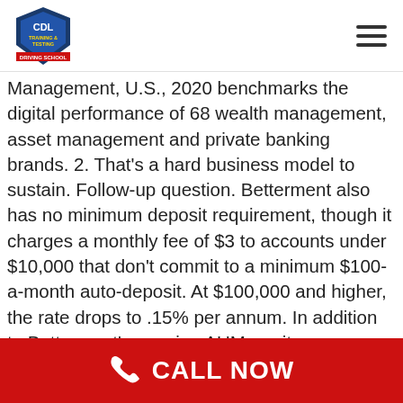[CDL logo] [hamburger menu]
Management, U.S., 2020 benchmarks the digital performance of 68 wealth management, asset management and private banking brands. 2. That's a hard business model to sustain. Follow-up question. Betterment also has no minimum deposit requirement, though it charges a monthly fee of $3 to accounts under $10,000 that don't commit to a minimum $100-a-month auto-deposit. At $100,000 and higher, the rate drops to .15% per annum. In addition to Betterment's growing AUM are its innovations. Betterment has two different plans and each has a different management fee. The company doesn't state its average plan size, but Alfred suspects the company's average plan size has fallen. Retiring at 65 or 45, beach or city—whatever you want out of your golden years ‡Checking
CALL NOW